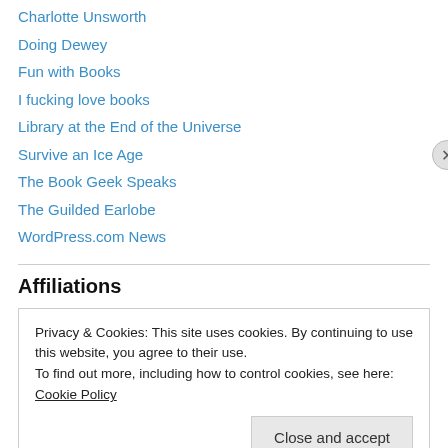Charlotte Unsworth
Doing Dewey
Fun with Books
I fucking love books
Library at the End of the Universe
Survive an Ice Age
The Book Geek Speaks
The Guilded Earlobe
WordPress.com News
Affiliations
Privacy & Cookies: This site uses cookies. By continuing to use this website, you agree to their use.
To find out more, including how to control cookies, see here: Cookie Policy
Close and accept